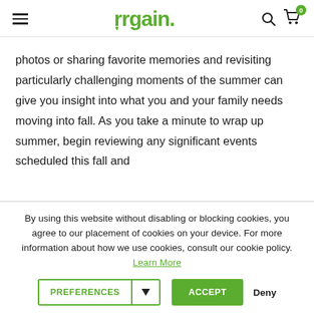Orgain — navigation header with hamburger menu, logo, search, and cart icons
photos or sharing favorite memories and revisiting particularly challenging moments of the summer can give you insight into what you and your family needs moving into fall. As you take a minute to wrap up summer, begin reviewing any significant events scheduled this fall and
By using this website without disabling or blocking cookies, you agree to our placement of cookies on your device. For more information about how we use cookies, consult our cookie policy. Learn More
Preferences ▼   Accept   Deny